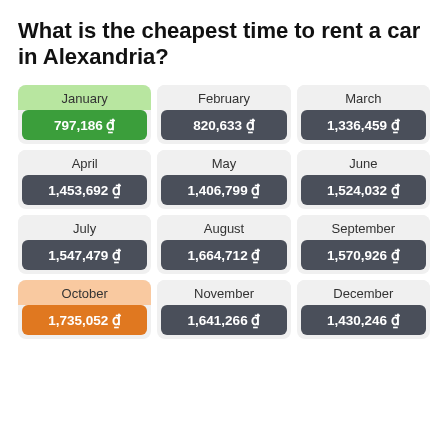What is the cheapest time to rent a car in Alexandria?
| Month | Price |
| --- | --- |
| January | 797,186 ₫ |
| February | 820,633 ₫ |
| March | 1,336,459 ₫ |
| April | 1,453,692 ₫ |
| May | 1,406,799 ₫ |
| June | 1,524,032 ₫ |
| July | 1,547,479 ₫ |
| August | 1,664,712 ₫ |
| September | 1,570,926 ₫ |
| October | 1,735,052 ₫ |
| November | 1,641,266 ₫ |
| December | 1,430,246 ₫ |